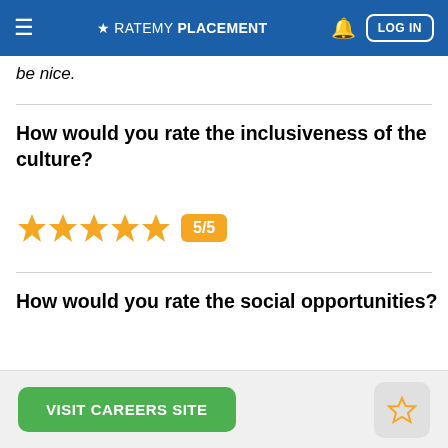≡ ★ RATEMYPLACEMENT 🔔 LOG IN
be nice.
How would you rate the inclusiveness of the culture?
[Figure (other): 5 orange stars with rating badge showing 5/5]
How would you rate the social opportunities?
VISIT CAREERS SITE | favourite star button